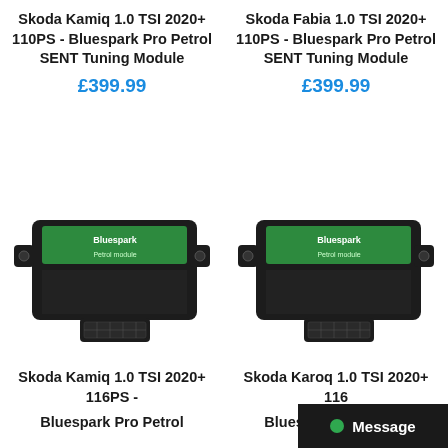Skoda Kamiq 1.0 TSI 2020+ 110PS - Bluespark Pro Petrol SENT Tuning Module
£399.99
Skoda Fabia 1.0 TSI 2020+ 110PS - Bluespark Pro Petrol SENT Tuning Module
£399.99
[Figure (photo): Bluespark Pro Petrol SENT Tuning Module device - black rectangular electronic module with green label and multipin connector]
[Figure (photo): Bluespark Pro Petrol SENT Tuning Module device - black rectangular electronic module with green label and multipin connector]
Skoda Kamiq 1.0 TSI 2020+ 116PS - Bluespark Pro Petrol
Skoda Karoq 1.0 TSI 2020+ 116 Bluespark Pro Petrol